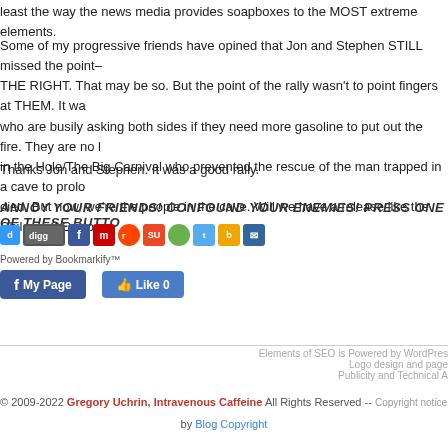least the way the news media provides soapboxes to the MOST extreme elements.
Some of my progressive friends have opined that Jon and Stephen STILL missed the point– THE RIGHT. That may be so. But the point of the rally wasn't to point fingers at THEM. It was who are busily asking both sides if they need more gasoline to put out the fire. They are no l in the Hole/The Big Carnival who prevented the rescue of the man trapped in a cave to prolo died. But now, we're the people in the cave. Will we have a release like the Chileans? Or do
Thanks Jon and Stephen. It was a good rally.
ANNOY YOUR FRIENDS! CONFOUND YOUR ENEMIES! PRESS ONE OF THESE BUTTO
[Figure (screenshot): Social sharing buttons: Delicious, Digg, Facebook, Mixx, Reddit, StumbleUpon, FriendFeed, Twitter, Buzz, Email]
Powered by Bookmarkify™
[Figure (screenshot): Facebook My Page button and Facebook Like button (Like 0)]
Elements of SEO is Powered by WordPress
Logo design and page
Publicity and Technical A
© 2009-2022 Gregory Uchrin, Intravenous Caffeine All Rights Reserved -- Copyright notice
by Blog Copyright